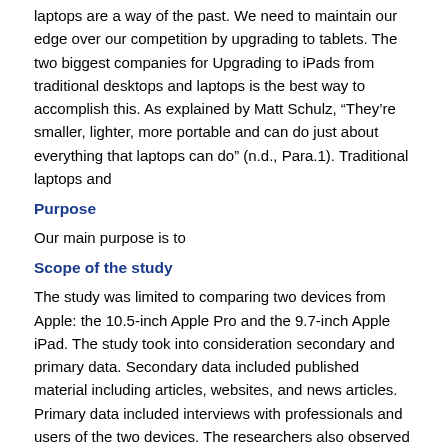laptops are a way of the past. We need to maintain our edge over our competition by upgrading to tablets. The two biggest companies for Upgrading to iPads from traditional desktops and laptops is the best way to accomplish this. As explained by Matt Schulz, “They’re smaller, lighter, more portable and can do just about everything that laptops can do” (n.d., Para.1). Traditional laptops and
Purpose
Our main purpose is to
Scope of the study
The study was limited to comparing two devices from Apple: the 10.5-inch Apple Pro and the 9.7-inch Apple iPad. The study took into consideration secondary and primary data. Secondary data included published material including articles, websites, and news articles. Primary data included interviews with professionals and users of the two devices. The researchers also observed the devices to compare their features.
Research Methods